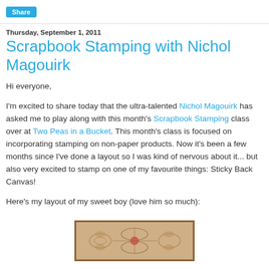Share
Thursday, September 1, 2011
Scrapbook Stamping with Nichol Magouirk
Hi everyone,
I'm excited to share today that the ultra-talented Nichol Magouirk has asked me to play along with this month's Scrapbook Stamping class over at Two Peas in a Bucket. This month's class is focused on incorporating stamping on non-paper products. Now it's been a few months since I've done a layout so I was kind of nervous about it... but also very excited to stamp on one of my favourite things: Sticky Back Canvas!
Here's my layout of my sweet boy (love him so much):
[Figure (photo): A scrapbook layout photo showing decorative stamping with floral/botanical motifs on a canvas, with a warm brown/tan color palette and a brown border frame.]